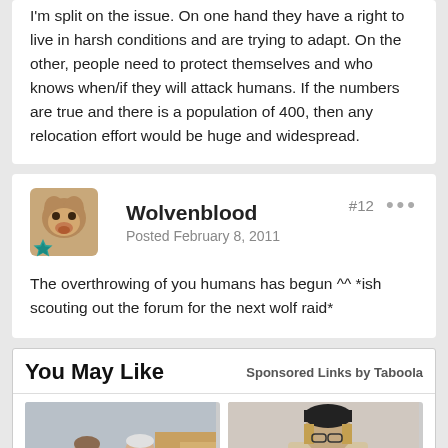I'm split on the issue. On one hand they have a right to live in harsh conditions and are trying to adapt. On the other, people need to protect themselves and who knows when/if they will attack humans. If the numbers are true and there is a population of 400, then any relocation effort would be huge and widespread.
Wolvenblood
Posted February 8, 2011
#12
The overthrowing of you humans has begun ^^ *ish scouting out the forum for the next wolf raid*
You May Like
Sponsored Links by Taboola
[Figure (photo): Two elderly people sitting on a couch surrounded by cardboard boxes, appearing to be moving]
[Figure (photo): Person in a beige jacket leaning forward, partially visible]